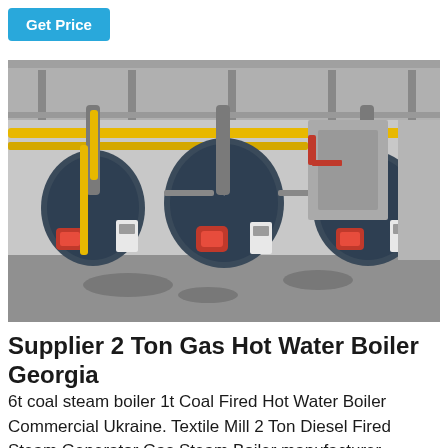Get Price
[Figure (photo): Industrial boiler room with three large blue cylindrical gas/steam boilers arranged side by side, connected by yellow pipes and various control panels, inside a factory building with concrete floors.]
Supplier 2 Ton Gas Hot Water Boiler Georgia
6t coal steam boiler 1t Coal Fired Hot Water Boiler Commercial Ukraine. Textile Mill 2 Ton Diesel Fired Steam Generator Gas Steam Boiler manufacturer